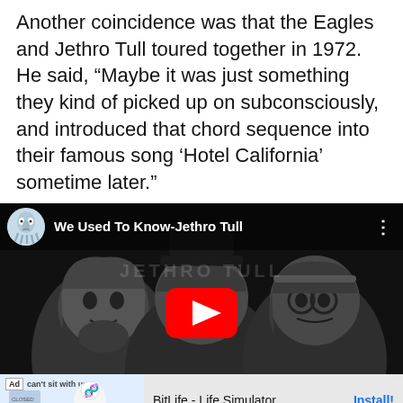Another coincidence was that the Eagles and Jethro Tull toured together in 1972. He said, “Maybe it was just something they kind of picked up on subconsciously, and introduced that chord sequence into their famous song ‘Hotel California’ sometime later.”
[Figure (screenshot): YouTube video embed showing 'We Used To Know-Jethro Tull' with a black and white illustration of three band members, a YouTube play button in the center, channel icon (Squidward-like character), and a BitLife ad banner at the bottom.]